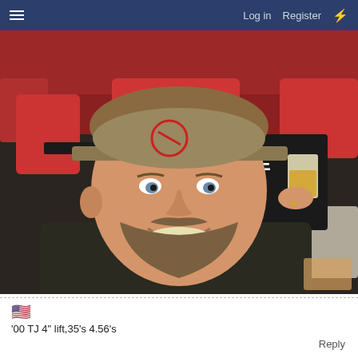≡   Log in   Register   ⚡
[Figure (photo): A smiling man wearing a Carolina Hurricanes baseball cap and dark shirt takes a selfie at what appears to be a sports arena. He has a beard and blue eyes. Behind him sits another person in a dark Hurricanes shirt holding a beer cup, wearing gray shorts, seated in red arena seats.]
'00 TJ 4" lift,35's 4.56's
Reply